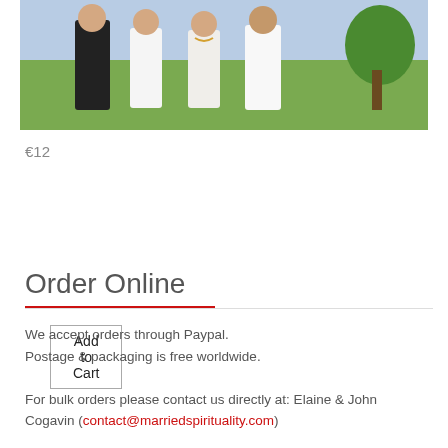[Figure (photo): Group photo of two couples standing together outdoors on a green field with trees in the background. A man in a dark suit, a woman in white, an older woman with a necklace, and an older man in a white shirt.]
€12
Add to Cart
Order Online
We accept orders through Paypal.
Postage & packaging is free worldwide.
For bulk orders please contact us directly at: Elaine & John Cogavin (contact@marriedspirituality.com)